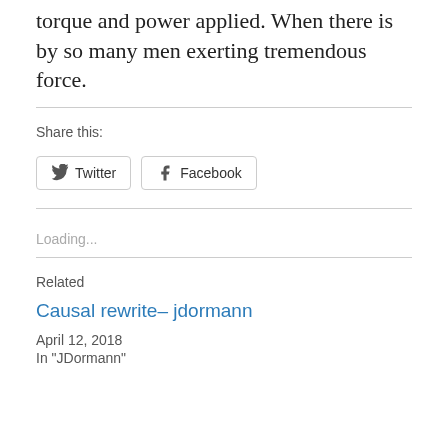torque and power applied. When there is by so many men exerting tremendous force.
Share this:
[Figure (other): Twitter and Facebook share buttons]
Loading...
Related
Causal rewrite– jdormann
April 12, 2018
In "JDormann"